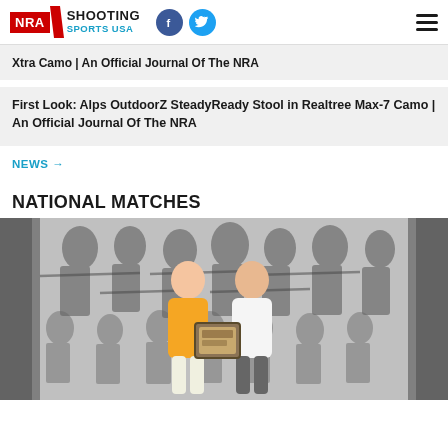NRA Shooting Sports USA
Xtra Camo | An Official Journal Of The NRA
First Look: Alps OutdoorZ SteadyReady Stool in Realtree Max-7 Camo | An Official Journal Of The NRA
NEWS →
NATIONAL MATCHES
[Figure (photo): Two people standing in front of a black and white illustrated backdrop of shooters. Person on the left wears an orange outfit, person on the right wears a white polo and holds a framed award plaque.]